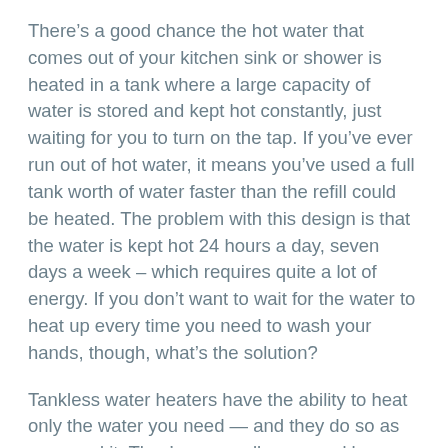There’s a good chance the hot water that comes out of your kitchen sink or shower is heated in a tank where a large capacity of water is stored and kept hot constantly, just waiting for you to turn on the tap. If you’ve ever run out of hot water, it means you’ve used a full tank worth of water faster than the refill could be heated. The problem with this design is that the water is kept hot 24 hours a day, seven days a week – which requires quite a lot of energy. If you don’t want to wait for the water to heat up every time you need to wash your hands, though, what’s the solution?
Tankless water heaters have the ability to heat only the water you need — and they do so as you need it. They’re generally powered by gas or electricity, but these systems are not commonly pre-installed in homes in the United States, where tankless water heating has only been readily available in the past decade or two. Still, their on-demand design is 8% to 34% more efficient than storage water heaters, and can save in utility spending, on average, $100 or more in bills annually.